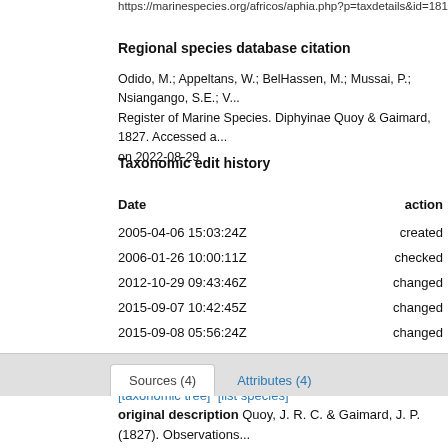https://marinespecies.org/africos/aphia.php?p=taxdetails&id=181832 o...
Regional species database citation
Odido, M.; Appeltans, W.; BelHassen, M.; Mussai, P.; Nsiangango, S.E.; V... Register of Marine Species. Diphyinae Quoy & Gaimard, 1827. Accessed a... on 2022-08-29
Taxonomic edit history
| Date | action |
| --- | --- |
| 2005-04-06 15:03:24Z | created |
| 2006-01-26 10:00:11Z | checked |
| 2012-10-29 09:43:46Z | changed |
| 2015-09-07 10:42:45Z | changed |
| 2015-09-08 05:56:24Z | changed |
[taxonomic tree]  [list species]
Sources (4)   Attributes (4)
original description Quoy, J. R. C. & Gaimard, J. P. (1827). Observations...